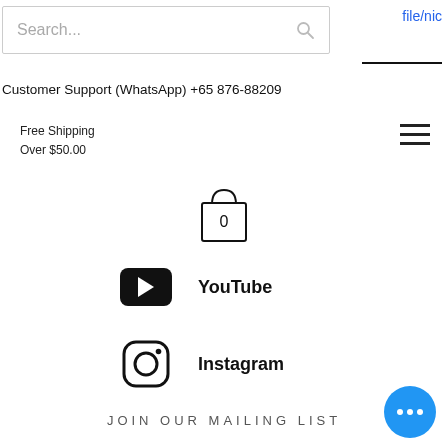[Figure (screenshot): Search bar with placeholder text 'Search...' and a search icon on the right]
file/nic
Customer Support (WhatsApp) +65 876-88209
Free Shipping
Over $50.00
[Figure (illustration): Hamburger menu icon with three horizontal lines]
[Figure (illustration): Shopping bag icon with '0' inside]
[Figure (illustration): YouTube icon (black rounded rectangle with play triangle) and 'YouTube' label]
[Figure (illustration): Instagram icon (rounded square camera outline) and 'Instagram' label]
JOIN OUR MAILING LIST
Name
[Figure (illustration): Blue circular chat bubble button with three dots]